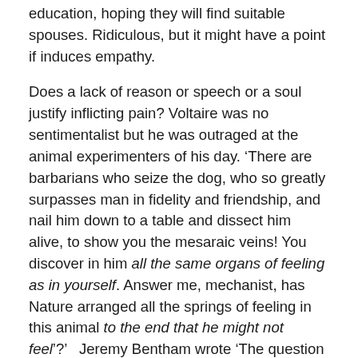education, hoping they will find suitable spouses. Ridiculous, but it might have a point if induces empathy.
Does a lack of reason or speech or a soul justify inflicting pain? Voltaire was no sentimentalist but he was outraged at the animal experimenters of his day. ‘There are barbarians who seize the dog, who so greatly surpasses man in fidelity and friendship, and nail him down to a table and dissect him alive, to show you the mesaraic veins! You discover in him all the same organs of feeling as in yourself. Answer me, mechanist, has Nature arranged all the springs of feeling in this animal to the end that he might not feel’?’   Jeremy Bentham wrote ‘The question is not can they reason? Nor can they talk? But Can they suffer?’ He denounced man’s dominion over animals as ‘tyranny’ rather than ‘legitimate government’.